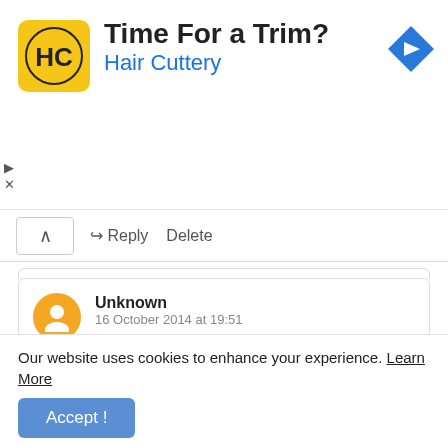[Figure (logo): Hair Cuttery ad banner with HC logo, 'Time For a Trim?' headline, 'Hair Cuttery' subtext in blue, and a blue diamond navigation arrow]
↑  ↷ Reply   Delete
Unknown
16 October 2014 at 19:51
hello sir, i know tamil and english typing well. but i don't have any certificates. Can i apply for the typist category in group 4 examination.
Our website uses cookies to enhance your experience. Learn More
Accept !